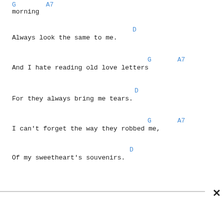G   A7
morning
D
Always look the same to me.
G   A7
And I hate reading old love letters
D
For they always bring me tears.
G   A7
I can't forget the way they robbed me,
D
Of my sweetheart's souvenirs.